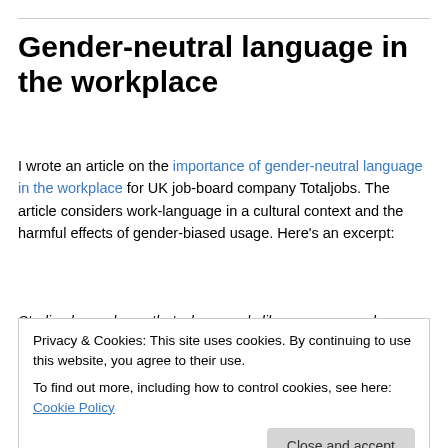Gender-neutral language in the workplace
I wrote an article on the importance of gender-neutral language in the workplace for UK job-board company Totaljobs. The article considers work-language in a cultural context and the harmful effects of gender-biased usage. Here’s an excerpt:
Studies have shown that when words like man are used
Privacy & Cookies: This site uses cookies. By continuing to use this website, you agree to their use.
To find out more, including how to control cookies, see here: Cookie Policy
as a verb downplay women’s labour. This kind of language